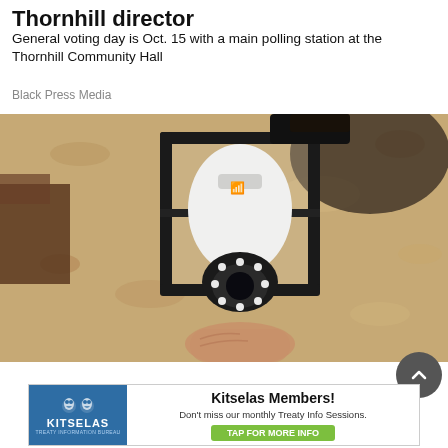Thornhill director
General voting day is Oct. 15 with a main polling station at the Thornhill Community Hall
Black Press Media
[Figure (photo): A hand holding a white security camera shaped like a light bulb, being installed into a black outdoor lantern-style light fixture mounted on a stucco wall.]
Homeowners Are Trading In Their Doorbe
[Figure (other): Kitselas Members advertisement banner with logo and text: Don't miss our monthly Treaty Info Sessions. TAP FOR MORE INFO button.]